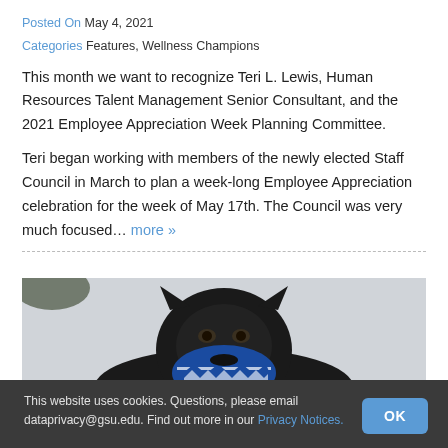Posted On May 4, 2021
Categories Features, Wellness Champions
This month we want to recognize Teri L. Lewis, Human Resources Talent Management Senior Consultant, and the 2021 Employee Appreciation Week Planning Committee.
Teri began working with members of the newly elected Staff Council in March to plan a week-long Employee Appreciation celebration for the week of May 17th. The Council was very much focused... more »
[Figure (photo): Black panther statue wearing a blue patterned face mask, photographed against a light sky background.]
This website uses cookies. Questions, please email dataprivacy@gsu.edu. Find out more in our Privacy Notices.